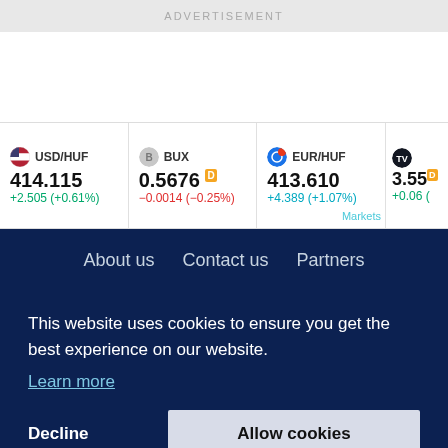ADVERTISEMENT
[Figure (infographic): Market ticker strip showing USD/HUF at 414.115 (+2.505, +0.61%), BUX at 0.5676 (-0.0014, -0.25%), EUR/HUF at 413.610 (+4.389, +1.07%), and a partially visible fourth ticker at 3.55]
About us   Contact us   Partners
This website uses cookies to ensure you get the best experience on our website.
Learn more
Decline
Allow cookies